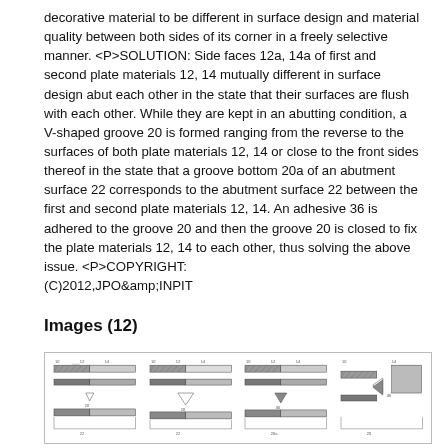decorative material to be different in surface design and material quality between both sides of its corner in a freely selective manner. <P>SOLUTION: Side faces 12a, 14a of first and second plate materials 12, 14 mutually different in surface design abut each other in the state that their surfaces are flush with each other. While they are kept in an abutting condition, a V-shaped groove 20 is formed ranging from the reverse to the surfaces of both plate materials 12, 14 or close to the front sides thereof in the state that a groove bottom 20a of an abutment surface 22 corresponds to the abutment surface 22 between the first and second plate materials 12, 14. An adhesive 36 is adhered to the groove 20 and then the groove 20 is closed to fix the plate materials 12, 14 to each other, thus solving the above issue. <P>COPYRIGHT: (C)2012,JPO&amp;INPIT
Images (12)
[Figure (engineering-diagram): Four engineering diagrams showing cross-sectional views of plate materials with V-shaped groove and adhesive assembly details, labeled with reference numbers.]